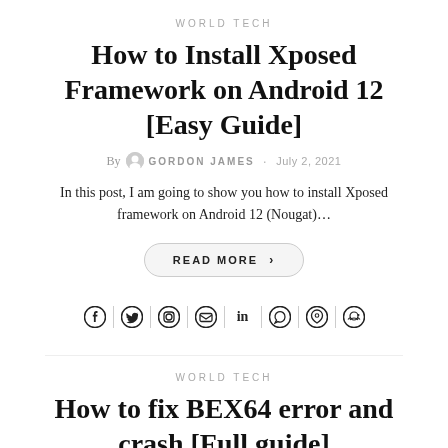WORLD TECH
How to Install Xposed Framework on Android 12 [Easy Guide]
By GORDON JAMES · July 2, 2021
In this post, I am going to show you how to install Xposed framework on Android 12 (Nougat)...
READ MORE >
[Figure (other): Social share icons: Facebook, Twitter, Pinterest, Email, LinkedIn, WhatsApp, Messenger, Reddit]
WORLD TECH
How to fix BEX64 error and crash [Full guide]